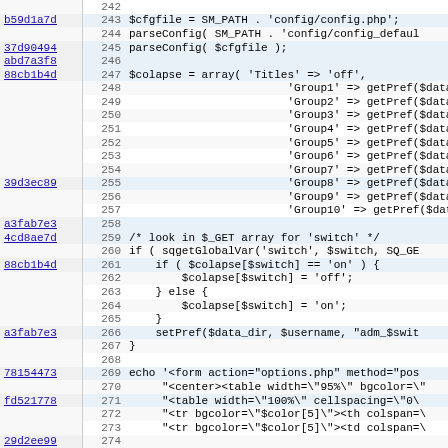[Figure (screenshot): Source code viewer showing PHP code lines 242-274 with commit hashes on the left column and line numbers, displaying configuration parsing, array definition, and HTML echo statements.]